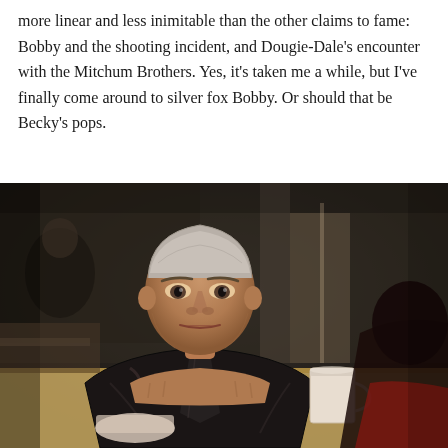more linear and less inimitable than the other claims to fame: Bobby and the shooting incident, and Dougie-Dale's encounter with the Mitchum Brothers. Yes, it's taken me a while, but I've finally come around to silver fox Bobby. Or should that be Becky's pops.
[Figure (photo): A silver-haired man in a black leather jacket sits at a diner table with a coffee mug in front of him, looking directly at the camera with a serious expression. Another person is partially visible in the foreground right. The setting appears to be a diner booth.]